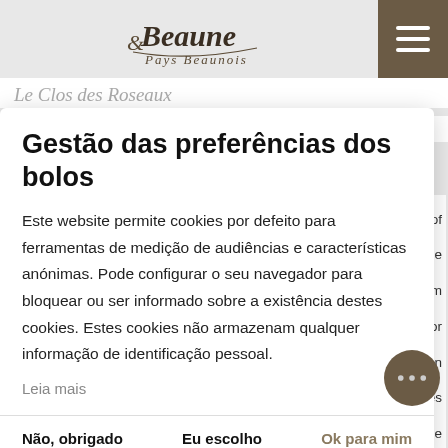Beaune & Pays Beaunois
Le Clos des Roseaux
GUESTHOUSES , HOUSE IN CHOREY-LES-BEAUNE
Gestão das preferências dos bolos
Este website permite cookies por defeito para ferramentas de medição de audiências e características anónimas. Pode configurar o seu navegador para bloquear ou ser informado sobre a existência destes cookies. Estes cookies não armazenam qualquer informação de identificação pessoal.
Leia mais
Não, obrigado
Eu escolho
Ok para mim
Capacity